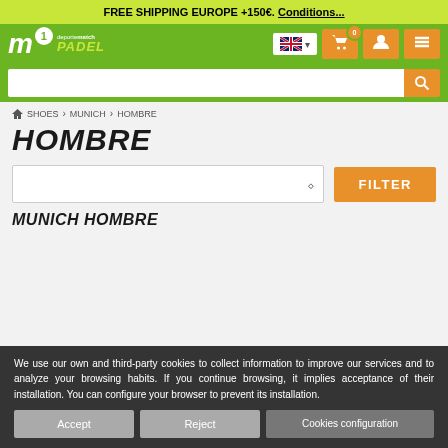FREE SHIPPING EUROPE +150€. Conditions...
[Figure (screenshot): Navigation bar with m1 Padel logo, language selector with UK flag, shopping cart button with badge showing 0, user account button, and menu button]
[Figure (screenshot): Search input field with orange search button]
SHOES > MUNICH > HOMBRE
HOMBRE
[Figure (screenshot): Sort dropdown selector and orange FILTER button]
MUNICH HOMBRE
We use our own and third-party cookies to collect information to improve our services and to analyze your browsing habits. If you continue browsing, it implies acceptance of their installation. You can configure your browser to prevent its installation.
Accept | Reject | Cookies configuration